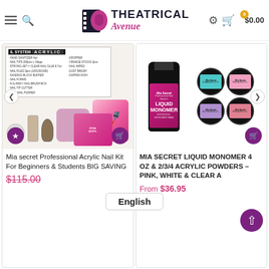Theatrical Avenue — $0.00 cart
[Figure (screenshot): Product thumbnail: Mia Secret Professional Acrylic Nail Kit with tools and components shown]
[Figure (screenshot): Product thumbnail: Mia Secret Liquid Monomer 4oz bottle and 4 acrylic powder jars in pink, white and clear]
Mia secret Professional Acrylic Nail Kit For Beginners & Students BIG SAVING
$115.00
MIA SECRET LIQUID MONOMER 4 OZ & 2/3/4 ACRYLIC POWDERS – PINK, WHITE & CLEAR A
From $36.95